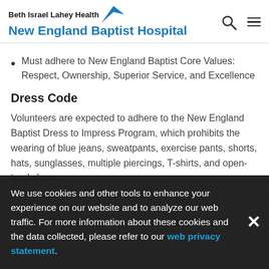Beth Israel Lahey Health New England Baptist Hospital
Must adhere to New England Baptist Core Values: Respect, Ownership, Superior Service, and Excellence
Dress Code
Volunteers are expected to adhere to the New England Baptist Dress to Impress Program, which prohibits the wearing of blue jeans, sweatpants, exercise pants, shorts, hats, sunglasses, multiple piercings, T-shirts, and open-toed shoes.
We use cookies and other tools to enhance your experience on our website and to analyze our web traffic. For more information about these cookies and the data collected, please refer to our web privacy statement.